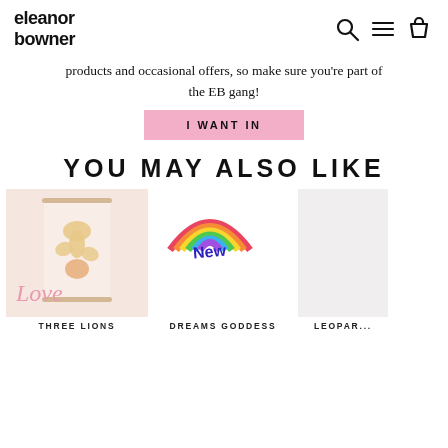eleanor bowner
products and occasional offers, so make sure you're part of the EB gang!
I WANT IN
YOU MAY ALSO LIKE
[Figure (photo): Product image: Three Lions art print showing golden lion silhouettes on a pink background with 'Love' in pink script below, displayed in a hanging poster frame]
THREE LIONS
[Figure (photo): Product image: Dreams Goddess product with a rainbow 'New' badge badge at top]
DREAMS GODDESS
LEOPAR...